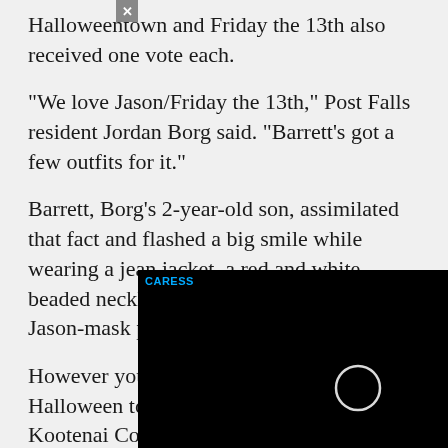Halloweentown and Friday the 13th also received one vote each.
"We love Jason/Friday the 13th," Post Falls resident Jordan Borg said. "Barrett's got a few outfits for it."
Barrett, Borg's 2-year-old son, assimilated that fact and flashed a big smile while wearing a jean jacket, a red and white beaded necklace, and shorts made with Jason-mask printed
However you choo Halloween tomorr Kootenai County.
[Figure (screenshot): Black video player overlay with 'CARESS' label in blue at top-left and a white circle/loading indicator in the center. A grey close (x) button is visible at the top-left corner of the overlay.]